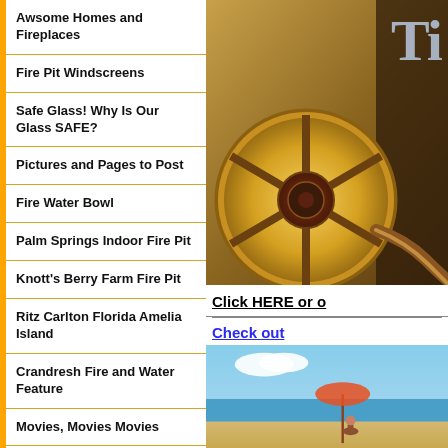Awsome Homes and Fireplaces
Fire Pit Windscreens
Safe Glass! Why Is Our Glass SAFE?
Pictures and Pages to Post
Fire Water Bowl
Palm Springs Indoor Fire Pit
Knott's Berry Farm Fire Pit
Ritz Carlton Florida Amelia Island
Crandresh Fire and Water Feature
Movies, Movies Movies
Various Fire and Water Projects
Moderustic Fabrication
[Figure (illustration): Film reel on brown/tan background with partial text 'Ti' visible, movie-themed graphic]
Click HERE or o
Check out
[Figure (photo): Beach scene photo partially visible at bottom right]